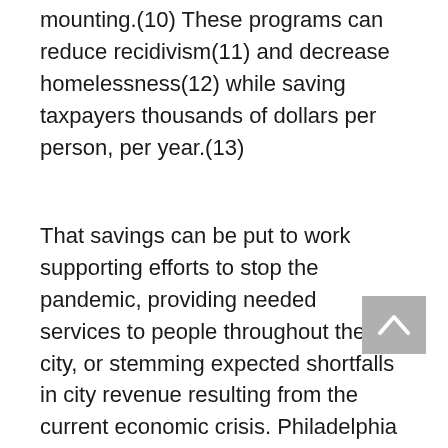mounting.(10) These programs can reduce recidivism(11) and decrease homelessness(12) while saving taxpayers thousands of dollars per person, per year.(13)
That savings can be put to work supporting efforts to stop the pandemic, providing needed services to people throughout the city, or stemming expected shortfalls in city revenue resulting from the current economic crisis. Philadelphia must do everything in its power to engage in homelessness prevention while providing more emergency shelter, rapid rehousing, and street outreach than it ever has at any point in its history. This will prevent crime